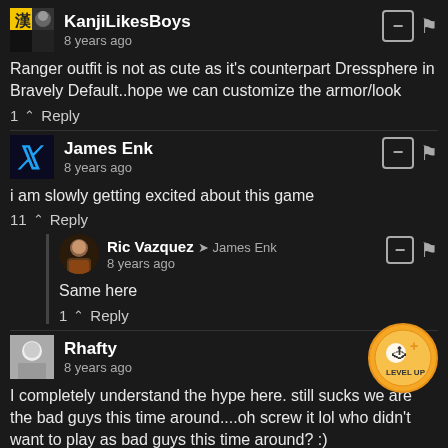KanjiLikesBoys
8 years ago
Ranger outfit is not as cute as it's counterpart Dressphere in Bravely Default..hope we can customize the armor/look
1 ^ Reply
James Enk
8 years ago
i am slowly getting excited about this game
11 ^ Reply
Ric Vazquez → James Enk
8 years ago
Same here
1 ^ Reply
Rhafty
8 years ago
I completely understand the hype here. still sucks we are the bad guys this time around....oh screw it lol who didn't want to play as bad guys this time around? :)